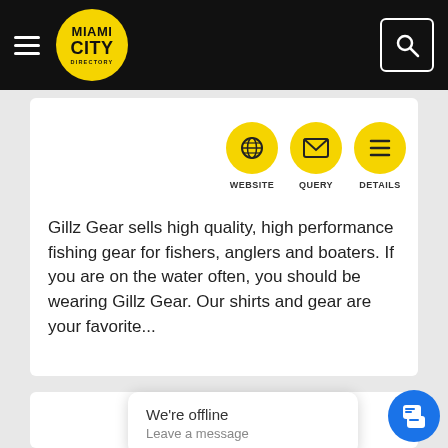Miami City Directory
[Figure (infographic): Three yellow circular icons: globe (WEBSITE), envelope (QUERY), list (DETAILS)]
Gillz Gear sells high quality, high performance fishing gear for fishers, anglers and boaters. If you are on the water often, you should be wearing Gillz Gear. Our shirts and gear are your favorite...
[Figure (screenshot): We're offline / Leave a message popup with blue chat button]